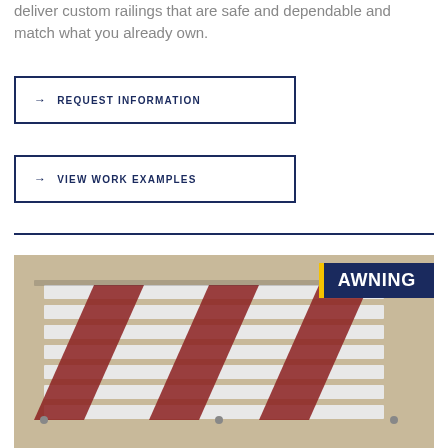deliver custom railings that are safe and dependable and match what you already own.
→  REQUEST INFORMATION
→  VIEW WORK EXAMPLES
[Figure (photo): Photo of a white and red striped metal awning structure with an overlay label reading AWNING on a dark navy background with yellow left border.]